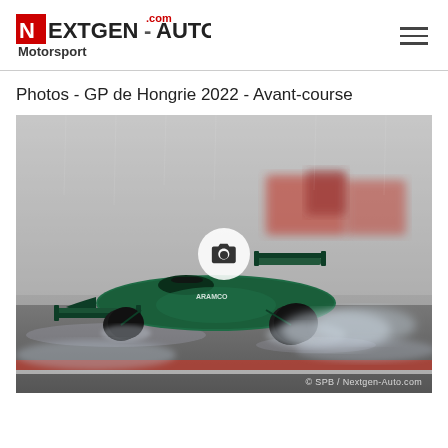NEXTGEN-AUTO.com Motorsport
Photos - GP de Hongrie 2022 - Avant-course
[Figure (photo): An Aston Martin Formula 1 car (green, number AMR22) racing on a wet track in rainy conditions at the Hungarian Grand Prix 2022, with spray visible around the car and blurred red barriers in the background. A camera icon overlay is displayed in the center of the image.]
© SPB / Nextgen-Auto.com